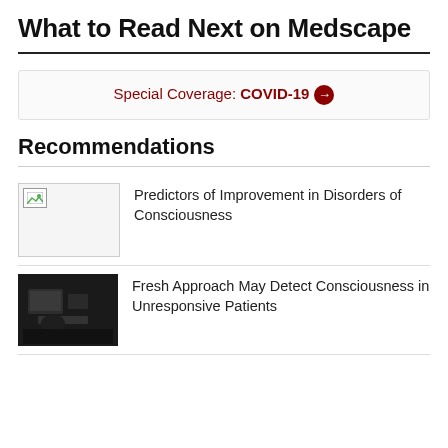What to Read Next on Medscape
Special Coverage: COVID-19 →
Recommendations
Predictors of Improvement in Disorders of Consciousness
Fresh Approach May Detect Consciousness in Unresponsive Patients